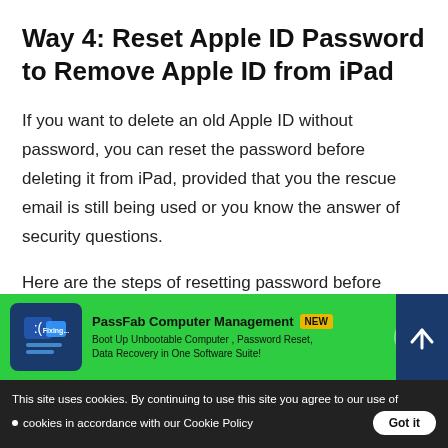Way 4: Reset Apple ID Password to Remove Apple ID from iPad
If you want to delete an old Apple ID without password, you can reset the password before deleting it from iPad, provided that you the rescue email is still being used or you know the answer of security questions.
Here are the steps of resetting password before removing iCloud account without password.
Step 1: Go to the iforgot.apple.com, enter the Apple ID of you
[Figure (screenshot): PassFab Computer Management advertisement banner on green background with icon, NEW badge, arrow button, and close X button]
This site uses cookies. By continuing to use this site you agree to our use of cookies in accordance with our Cookie Policy  Got it